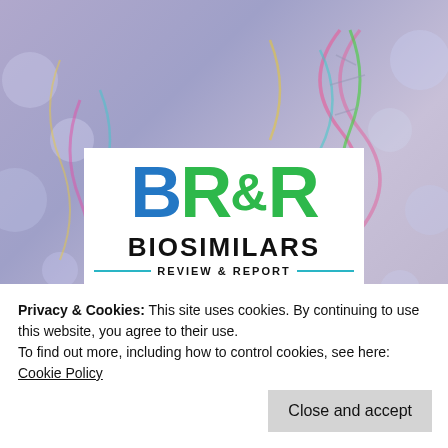[Figure (logo): BR&R Biosimilars Review & Report logo with blue B and green R&R letters on white background]
Biosimilars, Biologics, FDA Policy and Approvals, Clinical Trials, and Specialty Pharmacy
Privacy & Cookies: This site uses cookies. By continuing to use this website, you agree to their use.
To find out more, including how to control cookies, see here:
Cookie Policy
Close and accept